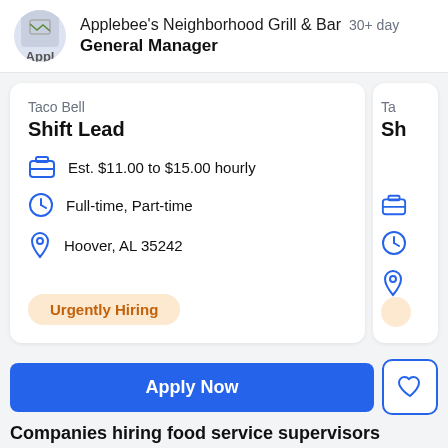Applebee's Neighborhood Grill & Bar  30+ days  General Manager
Taco Bell
Shift Lead
Est. $11.00 to $15.00 hourly
Full-time, Part-time
Hoover, AL 35242
Urgently Hiring
Apply Now
Companies hiring food service supervisors